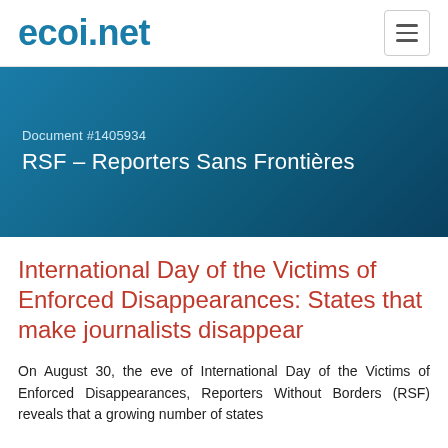ecoi.net
Document #1405934
RSF – Reporters Sans Frontières
International Day of the Victims of Enforced Disappearances: States that make journalists disappear
On August 30, the eve of International Day of the Victims of Enforced Disappearances, Reporters Without Borders (RSF) reveals that a growing number of states